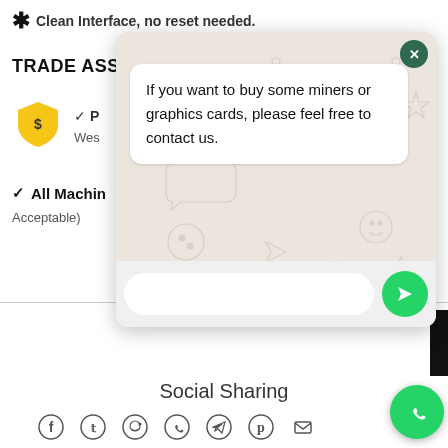* Clean Interface, no reset needed.
TRADE ASSU
✓ P
Wes
✓ All Machin
Acceptable)
[Figure (screenshot): WhatsApp chat overlay with message bubble: 'If you want to buy some miners or graphics cards, please feel free to contact us.' with close button and input field with send button]
Social Sharing
[Figure (other): Social sharing icons row: Facebook, Twitter, Reddit, WhatsApp, Telegram, Pinterest, Email]